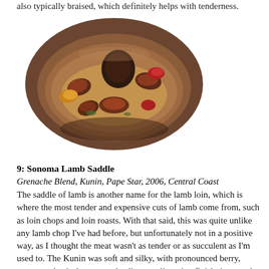also typically braised, which definitely helps with tenderness.
[Figure (photo): A restaurant dish featuring sliced lamb on a round plate with roasted vegetables and garnishes, photographed in warm dim lighting.]
9: Sonoma Lamb Saddle
Grenache Blend, Kunin, Pape Star, 2006, Central Coast
The saddle of lamb is another name for the lamb loin, which is where the most tender and expensive cuts of lamb come from, such as loin chops and loin roasts. With that said, this was quite unlike any lamb chop I've had before, but unfortunately not in a positive way, as I thought the meat wasn't as tender or as succulent as I'm used to. The Kunin was soft and silky, with pronounced berry, meaty, and spicebox notes, leading to a lingering finish; it proved a